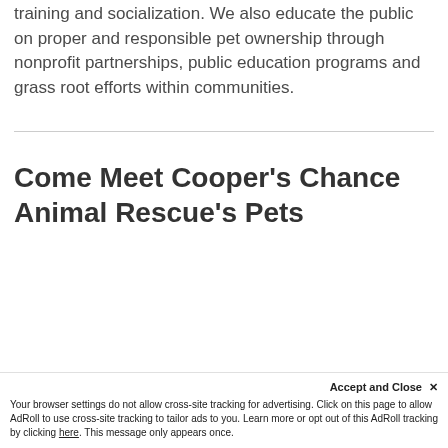training and socialization. We also educate the public on proper and responsible pet ownership through nonprofit partnerships, public education programs and grass root efforts within communities.
Come Meet Cooper's Chance Animal Rescue's Pets
Accept and Close ✕
Your browser settings do not allow cross-site tracking for advertising. Click on this page to allow AdRoll to use cross-site tracking to tailor ads to you. Learn more or opt out of this AdRoll tracking by clicking here. This message only appears once.